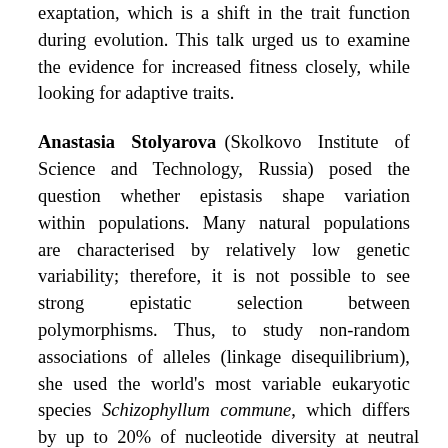exaptation, which is a shift in the trait function during evolution. This talk urged us to examine the evidence for increased fitness closely, while looking for adaptive traits.
Anastasia Stolyarova (Skolkovo Institute of Science and Technology, Russia) posed the question whether epistasis shape variation within populations. Many natural populations are characterised by relatively low genetic variability; therefore, it is not possible to see strong epistatic selection between polymorphisms. Thus, to study non-random associations of alleles (linkage disequilibrium), she used the world's most variable eukaryotic species Schizophyllum commune, which differs by up to 20% of nucleotide diversity at neutral